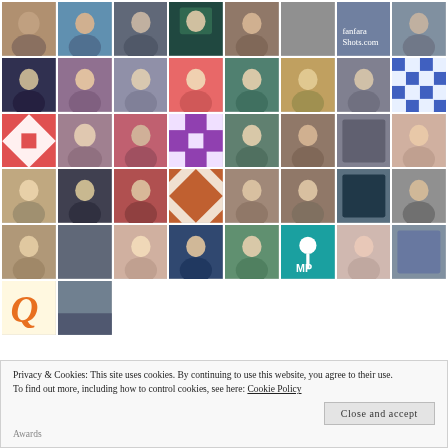[Figure (photo): Grid of user avatar photos and icons, 8 columns by 5 rows plus partial row, showing profile pictures of various people and decorative quilt/pattern avatars.]
Privacy & Cookies: This site uses cookies. By continuing to use this website, you agree to their use.
To find out more, including how to control cookies, see here: Cookie Policy
Close and accept
Awards